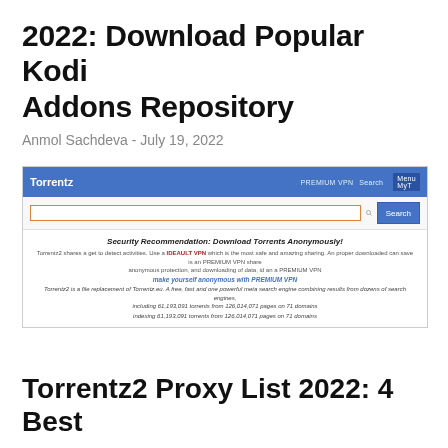2022: Download Popular Kodi Addons Repository
Anmol Sachdeva - July 19, 2022
[Figure (screenshot): Screenshot of the Torrentz website showing a blue navigation bar with 'Torrentz' logo, PREMIUM VPN, Search, and MyTorrentz links, a search bar with an orange-bordered input and Search button, and a security recommendation section about downloading torrents anonymously with blurred text content.]
Torrentz2 Proxy List 2022: 4 Best